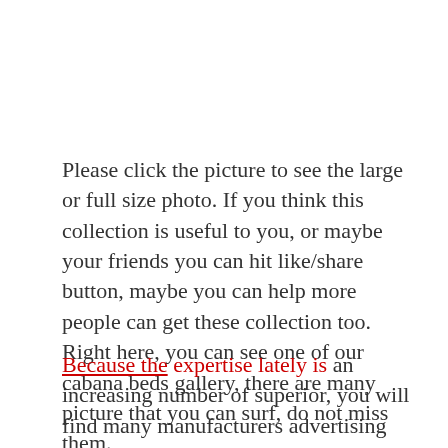Please click the picture to see the large or full size photo. If you think this collection is useful to you, or maybe your friends you can hit like/share button, maybe you can help more people can get these collection too. Right here, you can see one of our cabana beds gallery, there are many picture that you can surf, do not miss them.
Because the expertise lately is an increasing number of superior, you will find many manufacturers advertising the 6.1 Dolby Digital Surround DVD players, which are considered to be the most effective one that will go well with any dwelling theater arrange. Of those